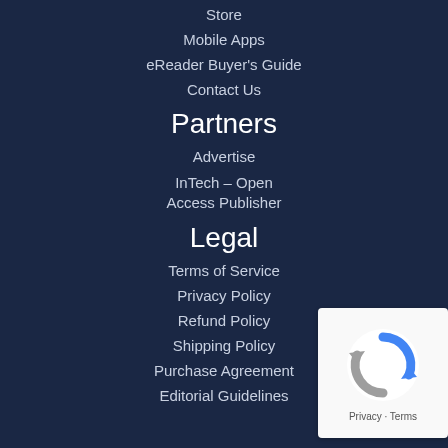Store
Mobile Apps
eReader Buyer's Guide
Contact Us
Partners
Advertise
InTech – Open Access Publisher
Legal
Terms of Service
Privacy Policy
Refund Policy
Shipping Policy
Purchase Agreement
Editorial Guidelines
[Figure (logo): reCAPTCHA badge with Privacy and Terms links]